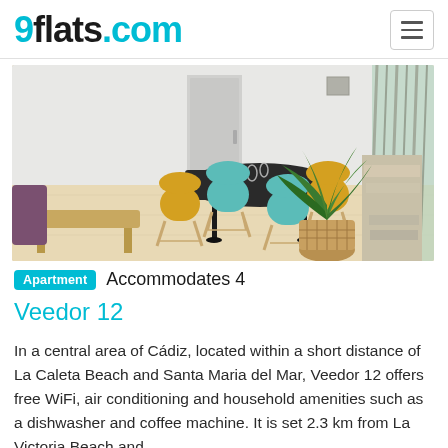9flats.com
[Figure (photo): Interior photo of a modern apartment dining area with a black table, teal and yellow chairs, light wood floor, and a large green plant in a wicker basket in the corner near a window with a striped curtain.]
Apartment   Accommodates 4
Veedor 12
In a central area of Cádiz, located within a short distance of La Caleta Beach and Santa Maria del Mar, Veedor 12 offers free WiFi, air conditioning and household amenities such as a dishwasher and coffee machine. It is set 2.3 km from La Victoria Beach and